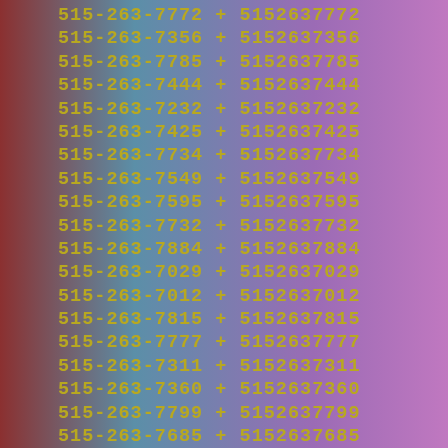515-263-7772 + 5152637772
515-263-7356 + 5152637356
515-263-7785 + 5152637785
515-263-7444 + 5152637444
515-263-7232 + 5152637232
515-263-7425 + 5152637425
515-263-7734 + 5152637734
515-263-7549 + 5152637549
515-263-7595 + 5152637595
515-263-7732 + 5152637732
515-263-7884 + 5152637884
515-263-7029 + 5152637029
515-263-7012 + 5152637012
515-263-7815 + 5152637815
515-263-7777 + 5152637777
515-263-7311 + 5152637311
515-263-7360 + 5152637360
515-263-7799 + 5152637799
515-263-7685 + 5152637685
515-263-7879 + 5152637879
515-263-7470 + 5152637470
515-263-7553 + 5152637553
515-263-7388 + 5152637388